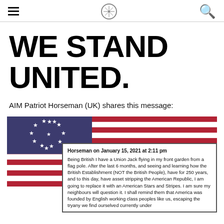[hamburger menu] [compass logo] [search icon]
WE STAND UNITED.
AIM Patriot Horseman (UK) shares this message:
[Figure (illustration): Betsy Ross American flag (13-star colonial flag) with red and white stripes and dark blue canton with circle of 13 white stars]
Horseman on January 15, 2021 at 2:11 pm
Being British I have a Union Jack flying in my front garden from a flag pole. After the last 6 months, and seeing and learning how the British Establishment (NOT the British People), have for 250 years, and to this day, have asset stripping the American Republic, I am going to replace it with an American Stars and Stripes. I am sure my neighbours will question it. I shall remind them that America was founded by English working class peoples like us, escaping the tryany we find ourselved currently under